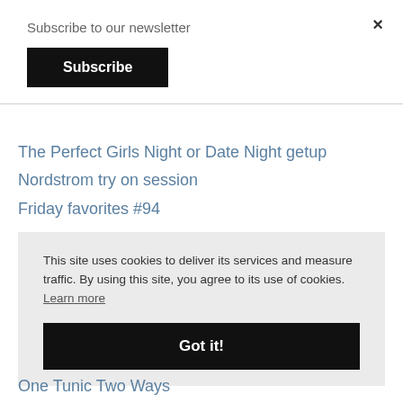Subscribe to our newsletter
Subscribe
×
The Perfect Girls Night or Date Night getup
Nordstrom try on session
Friday favorites #94
This site uses cookies to deliver its services and measure traffic. By using this site, you agree to its use of cookies. Learn more
Got it!
One Tunic Two Ways